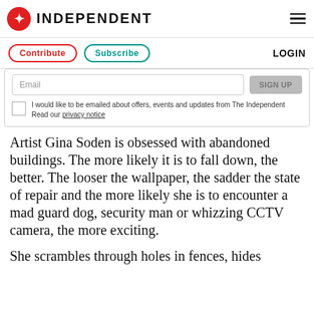INDEPENDENT
Contribute  Subscribe  LOGIN
Email  [Sign up button]  I would like to be emailed about offers, events and updates from The Independent Read our privacy notice
Artist Gina Soden is obsessed with abandoned buildings. The more likely it is to fall down, the better. The looser the wallpaper, the sadder the state of repair and the more likely she is to encounter a mad guard dog, security man or whizzing CCTV camera, the more exciting.
She scrambles through holes in fences, hides f...